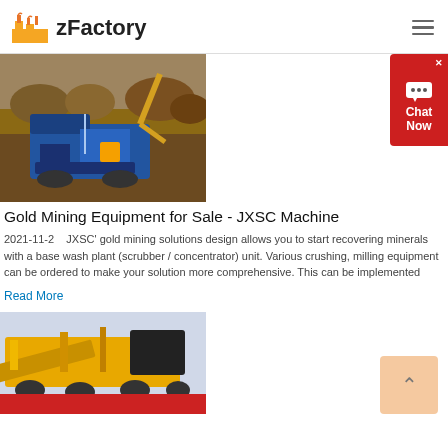zFactory
[Figure (photo): Blue and orange mobile gold mining crusher machine on rocky terrain with excavator in background]
Gold Mining Equipment for Sale - JXSC Machine
2021-11-2    JXSC' gold mining solutions design allows you to start recovering minerals with a base wash plant (scrubber / concentrator) unit. Various crushing, milling equipment can be ordered to make your solution more comprehensive. This can be implemented
Read More
[Figure (photo): Yellow and black mobile mining/crushing equipment on a red flatbed transport truck]